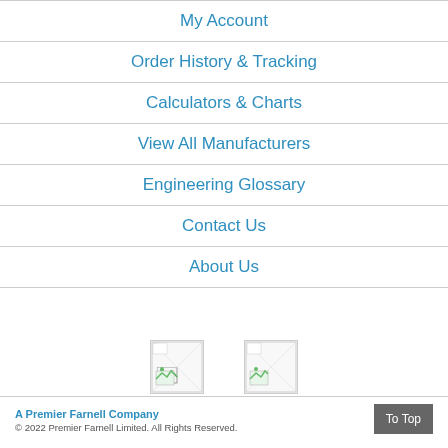My Account
Order History & Tracking
Calculators & Charts
View All Manufacturers
Engineering Glossary
Contact Us
About Us
[Figure (illustration): Two broken/placeholder image icons side by side]
A Premier Farnell Company
© 2022 Premier Farnell Limited. All Rights Reserved.